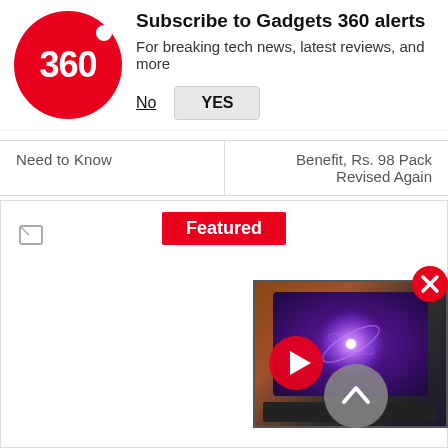[Figure (logo): Gadgets 360 red circle logo with '360' text in white]
Subscribe to Gadgets 360 alerts
For breaking tech news, latest reviews, and more
No   YES
Need to Know
Benefit, Rs. 98 Pack Revised Again
Featured
[Figure (screenshot): Featured article image area with broken image icon placeholder]
[Figure (screenshot): Video thumbnail showing a TV displaying galaxy/space image with a red play button overlay]
[Figure (other): Red X close button for video]
[Figure (other): Scroll to top circular button with upward arrow]